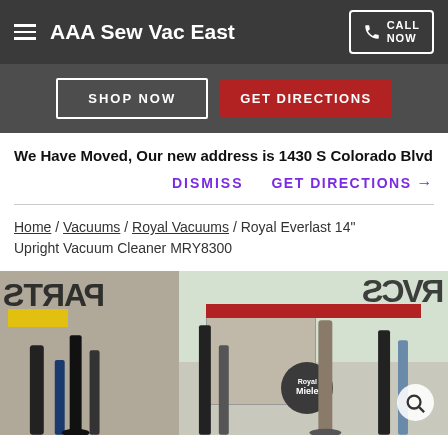AAA Sew Vac East — CALL NOW
SHOP NOW   GET DIRECTIONS
We Have Moved, Our new address is 1430 S Colorado Blvd
DISMISS   GET DIRECTIONS →
Home / Vacuums / Royal Vacuums / Royal Everlast 14" Upright Vacuum Cleaner MRY8300
[Figure (photo): Product photo showing vacuum cleaners in a store front window display, store exterior visible in background]